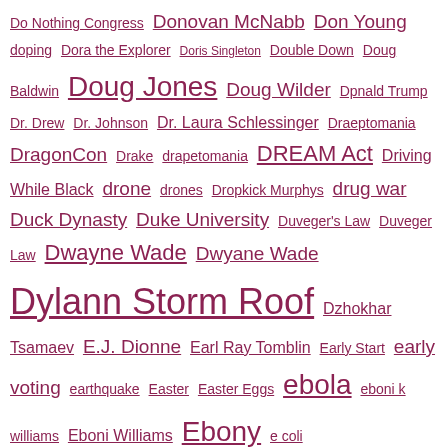Do Nothing Congress Donovan McNabb Don Young doping Dora the Explorer Doris Singleton Double Down Doug Baldwin Doug Jones Doug Wilder Dpnald Trump Dr. Drew Dr. Johnson Dr. Laura Schlessinger Draeptomania DragonCon Drake drapetomania DREAM Act Driving While Black drone drones Dropkick Murphys drug war Duck Dynasty Duke University Duveger's Law Duveger Law Dwayne Wade Dwyane Wade Dylann Storm Roof Dzhokhar Tsamaev E.J. Dionne Earl Ray Tomblin Early Start early voting earthquake Easter Easter Eggs ebola eboni k williams Eboni Williams Ebony e coli economy Edd Houck Eddie Glaude Eddie Long Edinburgh Ed Schultz Eduardo Najera educated education Edward Crawford Edward Snowden Egypt Ekow Yankah Elahe Izadi El Chapo Eleanor Clift election elections Electoral College Elena Kagan elijah cummings Eli Lake Eli Manning Elise Jordan Elizabeth Elizabeth Warren Ella Grace Caldwell Ella Jones Ellen Page Ellen Sturtz Elree Jones Elrois El Salvador email Emanuel AME Church Emanuel Cleaver Emauel AME Church